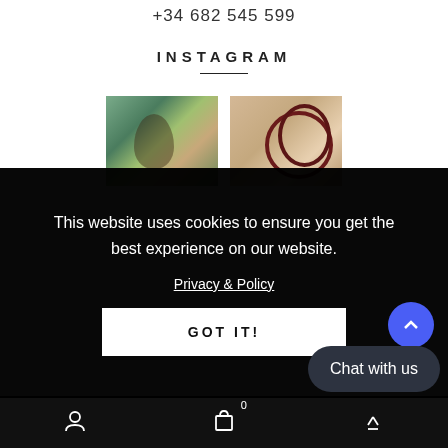+34 682 545 599
INSTAGRAM
[Figure (photo): Two Instagram photos: a painted portrait in forest setting and a painting with circular shapes]
This website uses cookies to ensure you get the best experience on our website.
Privacy & Policy
GOT IT!
[Figure (other): Blue circle scroll-to-top button with upward chevron]
mastercard  VISA  PayPal
Chat with us
Navigation bar with user icon, shopping cart (0), and menu icon